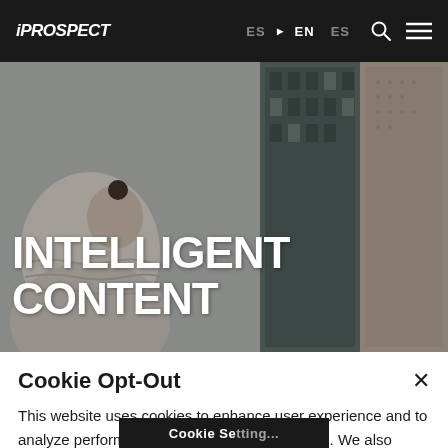iPROSPECT  ES ▶ EN  ES
[Figure (photo): Hero background photo showing a person in a knit sweater with urban buildings in the background, desaturated tones.]
INTELLIGENT CONTENT
Cookie Opt-Out
This website uses cookies to enhance user experience and to analyze performance and traffic on our website. We also share information about your use of our site with our social media, advertising and analytics partners. Cookie Policy.
Cookie Se...